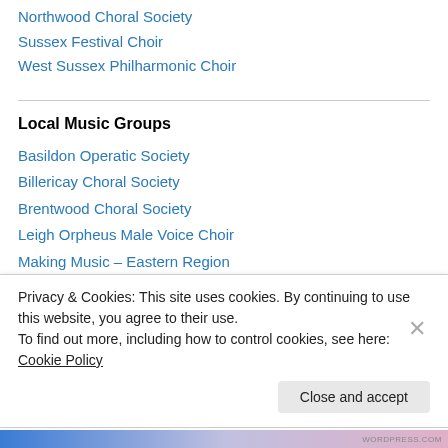Northwood Choral Society
Sussex Festival Choir
West Sussex Philharmonic Choir
Local Music Groups
Basildon Operatic Society
Billericay Choral Society
Brentwood Choral Society
Leigh Orpheus Male Voice Choir
Making Music – Eastern Region
Music In Essex
Privacy & Cookies: This site uses cookies. By continuing to use this website, you agree to their use.
To find out more, including how to control cookies, see here: Cookie Policy